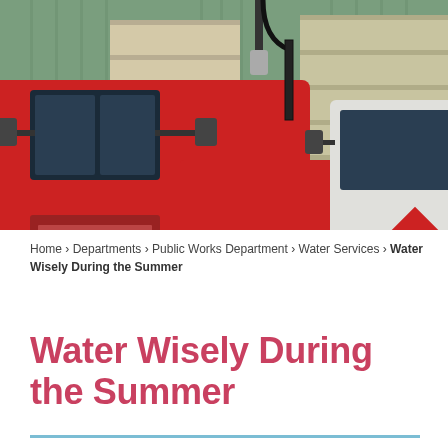[Figure (photo): Two large red dump trucks parked in front of a green corrugated metal building with garage doors. The trucks are photographed from the front-side angle showing mirrors, cabs, and beds.]
Home › Departments › Public Works Department › Water Services › Water Wisely During the Summer
Water Wisely During the Summer